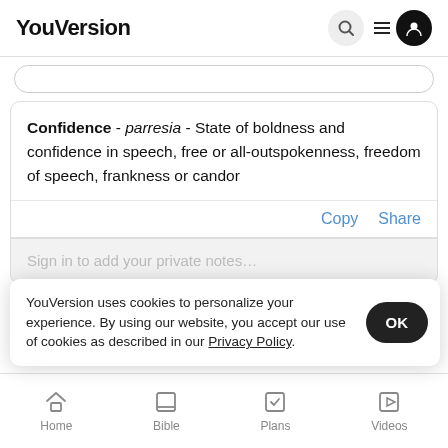YouVersion
Confidence - parresia - State of boldness and confidence in speech, free or all-outspokenness, freedom of speech, frankness or candor
Copy  Share
Sign in to add your private notes...
YouVersion uses cookies to personalize your experience. By using our website, you accept our use of cookies as described in our Privacy Policy.
Jere
Home  Bible  Plans  Videos